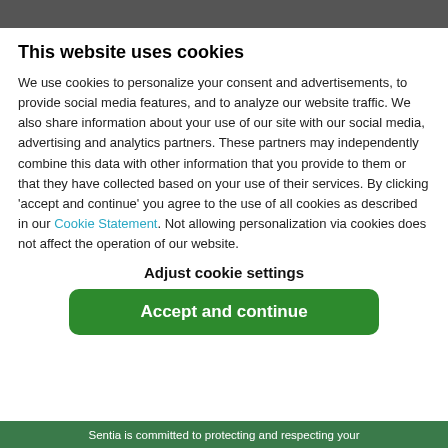This website uses cookies
We use cookies to personalize your consent and advertisements, to provide social media features, and to analyze our website traffic. We also share information about your use of our site with our social media, advertising and analytics partners. These partners may independently combine this data with other information that you provide to them or that they have collected based on your use of their services. By clicking 'accept and continue' you agree to the use of all cookies as described in our Cookie Statement. Not allowing personalization via cookies does not affect the operation of our website.
Adjust cookie settings
Accept and continue
Sentia is committed to protecting and respecting your